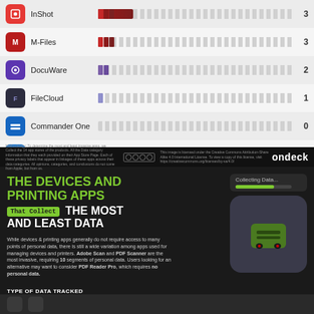[Figure (bar-chart): App data collection scores]
THE DEVICES AND PRINTING APPS That Collect THE MOST AND LEAST DATA
While devices & printing apps generally do not require access to many points of personal data, there is still a wide variation among apps used for managing devices and printers. Adobe Scan and PDF Scanner are the most invasive, requiring 10 segments of personal data. Users looking for an alternative may want to consider PDF Reader Pro, which requires no personal data.
TYPE OF DATA TRACKED
ondeck